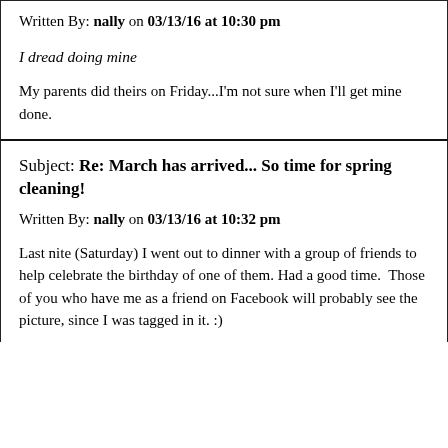Written By: nally on 03/13/16 at 10:30 pm
I dread doing mine
My parents did theirs on Friday...I'm not sure when I'll get mine done.
Subject: Re: March has arrived... So time for spring cleaning!
Written By: nally on 03/13/16 at 10:32 pm
Last nite (Saturday) I went out to dinner with a group of friends to help celebrate the birthday of one of them. Had a good time.  Those of you who have me as a friend on Facebook will probably see the picture, since I was tagged in it. :)